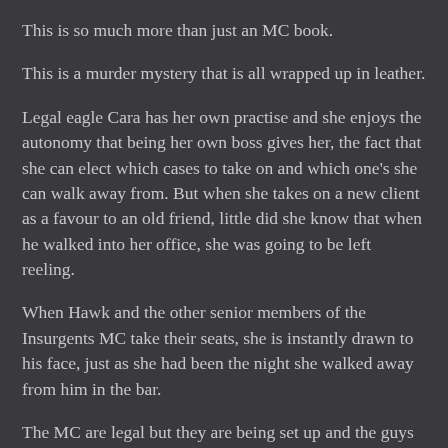This is so much more than just an MC book.
This is a murder mystery that is all wrapped up in leather.
Legal eagle Cara has her own practise and she enjoys the autonomy that being her own boss gives her, the fact that she can elect which cases to take on and which one's she can walk away from. But when she takes on a new client as a favour to an old friend, little did she know that when he walked into her office, she was going to be left reeling.
When Hawk and the other senior members of the Insurgents MC take their seats, she is instantly drawn to his face, just as she had been the night she walked away from him in the bar.
The MC are legal but they are being set up and the guys are determined to see those that are behind the trouble they are experiencing held accountable but they need a lawyer and